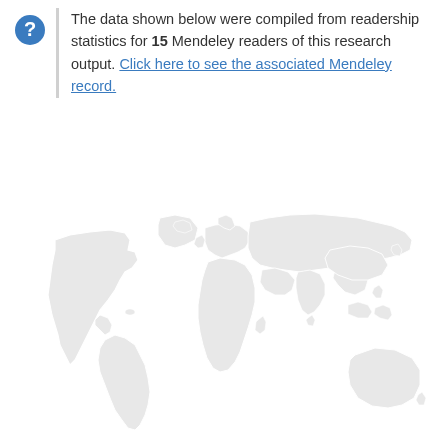The data shown below were compiled from readership statistics for 15 Mendeley readers of this research output. Click here to see the associated Mendeley record.
[Figure (map): World map shown in light grey with white country outlines, representing readership geography for a Mendeley research output with 15 readers.]